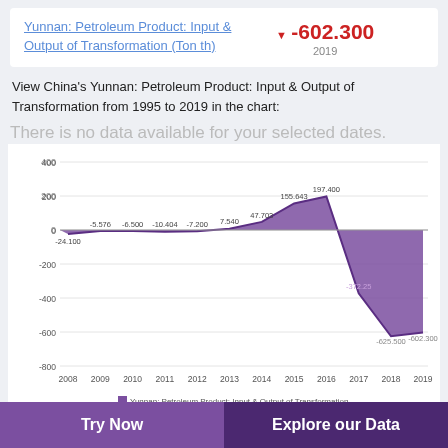Yunnan: Petroleum Product: Input & Output of Transformation (Ton th)
▼ -602.300
2019
View China's Yunnan: Petroleum Product: Input & Output of Transformation from 1995 to 2019 in the chart:
There is no data available for your selected dates.
[Figure (area-chart): Yunnan: Petroleum Product: Input & Output of Transformation]
China Yunnan Petrol...
Try Now
Explore our Data